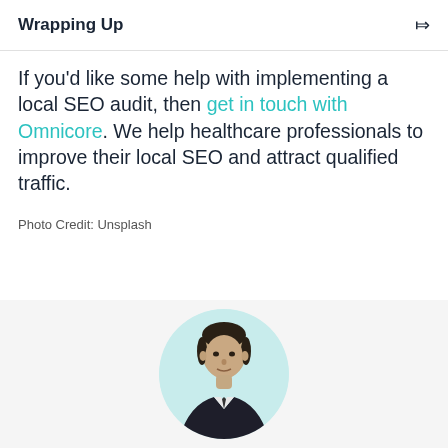Wrapping Up
If you'd like some help with implementing a local SEO audit, then get in touch with Omnicore. We help healthcare professionals to improve their local SEO and attract qualified traffic.
Photo Credit: Unsplash
[Figure (photo): Circular headshot of a man in a dark suit against a light teal circular background, cropped at shoulders, bottom of image cut off]